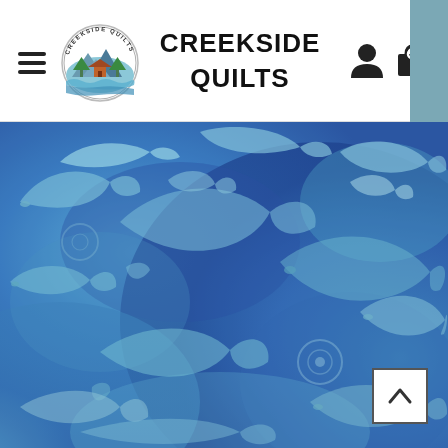CREEKSIDE QUILTS — website header with hamburger menu, circular logo, brand name, user icon, and cart icon showing 0 items
[Figure (photo): Blue and teal batik fabric featuring swirling fish/dolphin motifs in light teal/white on a deep blue and periwinkle watercolor background]